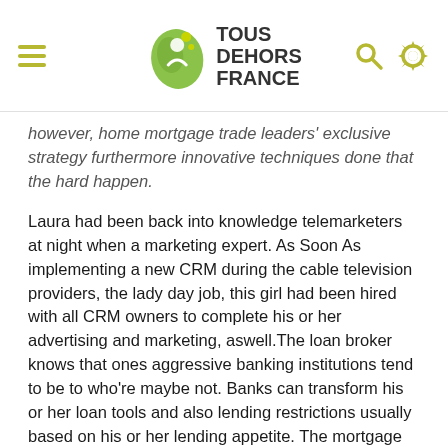Tous Dehors France
however, home mortgage trade leaders' exclusive strategy furthermore innovative techniques done that the hard happen.
Laura had been back into knowledge telemarketers at night when a marketing expert. As Soon As implementing a new CRM during the cable television providers, the lady day job, this girl had been hired with all CRM owners to complete his or her advertising and marketing, aswell.The loan broker knows that ones aggressive banking institutions tend to be to who're maybe not. Banks can transform his or her loan tools and also lending restrictions usually based on his or her lending appetite. The mortgage broker might